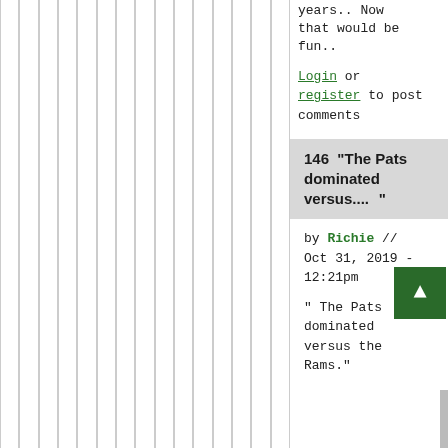years.. Now that would be fun..
Login or register to post comments
146  "The Pats dominated versus...."
by Richie // Oct 31, 2019 - 12:21pm
" The Pats dominated versus the Rams."